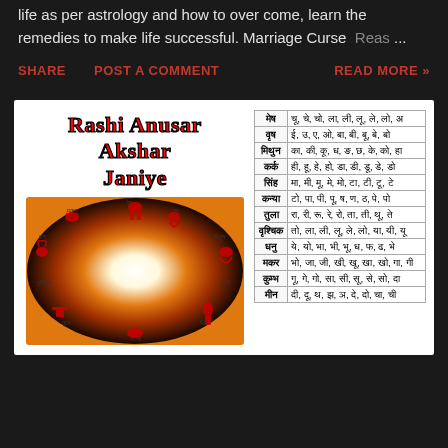life as per astrology and how to over come, learn the remedies to make life successful. Marriage Curse  Reas... ...
SHARE   POST A COMMENT   READ MORE »
[Figure (infographic): Rashi Anusar Akshar Janiye - zodiac wheel image with Hindi text showing rashi akshar table]
| Rashi | Akshar |
| --- | --- |
| मेष | चू, चे, चो, ला, ली, लू, ले, लो, अ |
| वृष | ई, उ, ए, ओ, बा, बी, बू, बे, बो |
| मिथुन | का, की, कू, ध, ङ, छ, के, को, हा |
| कर्क | ही, हू, हे, हो, डा, डी, डू, डे, डो |
| सिंह | मा, मी, मू, मे, मो, टा, टी, टू, टे |
| कन्या | टो, पा, पी, पू, ष, ण, ठ, पे, पो |
| तुला | रा, री, रू, रे, रो, ता, ती, थू, ते |
| वृश्चिक | तो, ला, ली, लू, ले, लो, या, यी, यू |
| धनु | ये, यो, भा, भी, भू, ध, फ, ढ, भे |
| मकर | भो, जा, जी, खी, खू, खा, खो, गा, गी |
| कुम्भ | गू, गे, गो, सा, सी, सू, से, सो, दा |
| मीन | दी, दू, थ, झ, ञ, दे, दो, चा, ची |